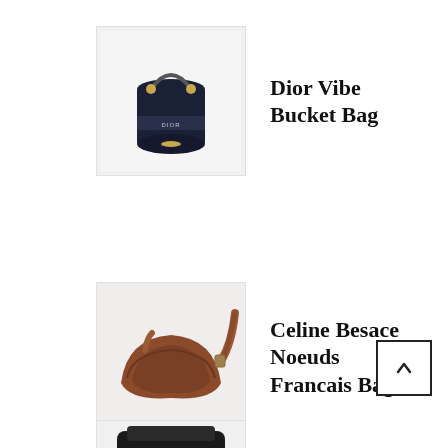[Figure (photo): Dior Vibe Bucket Bag product image - dark navy cylindrical bucket bag with gold hardware and logo band]
Dior Vibe Bucket Bag
[Figure (photo): Celine Besace Noeuds Francais Bag product image - brown leather crescent-shaped shoulder bag with tan strap]
Celine Besace Noeuds Francais Bag
[Figure (photo): Partial view of a third bag at the bottom of the page - black bag, partially visible]
[Figure (other): Scroll to top button with upward chevron arrow]